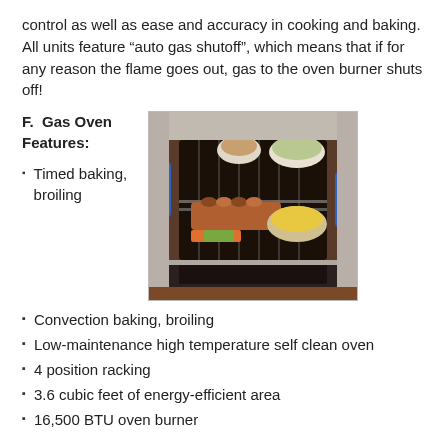control as well as ease and accuracy in cooking and baking. All units feature “auto gas shutoff”, which means that if for any reason the flame goes out, gas to the oven burner shuts off!
F.  Gas Oven Features:
Timed baking, broiling
[Figure (photo): Open gas oven with food cooking inside including rack of lamb, vegetables, and a bowl of corn, with blue digital displays on the side panels of a stainless steel range.]
Convection baking, broiling
Low-maintenance high temperature self clean oven
4 position racking
3.6 cubic feet of energy-efficient area
16,500 BTU oven burner